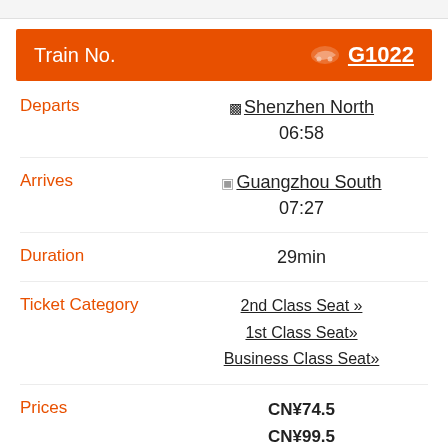Train No. G1022
Departs: Shenzhen North 06:58
Arrives: Guangzhou South 07:27
Duration: 29min
Ticket Category: 2nd Class Seat » | 1st Class Seat» | Business Class Seat»
Prices: CN¥74.5 | CN¥99.5 | CN¥199.5
8